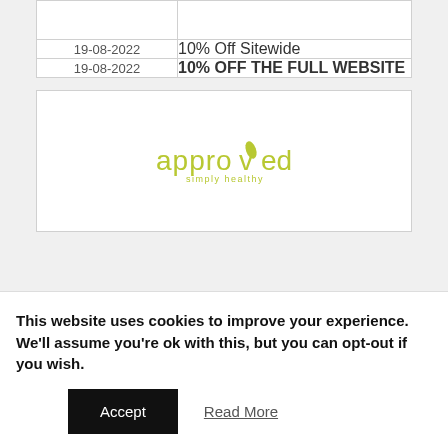| Date | Description |
| --- | --- |
|  |  |
| 19-08-2022 | 10% Off Sitewide |
| 19-08-2022 | 10% OFF THE FULL WEBSITE |
[Figure (logo): Approved simply healthy logo in yellow-green color]
This website uses cookies to improve your experience. We'll assume you're ok with this, but you can opt-out if you wish.